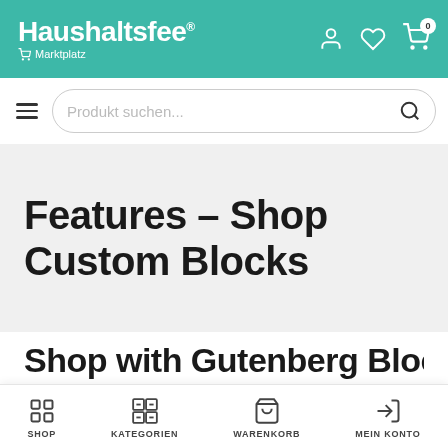Haushaltsfee Marktplatz
[Figure (screenshot): Search bar with hamburger menu icon and search field reading 'Produkt suchen...']
Features – Shop Custom Blocks
Shop with Gutenberg Block
SHOP | KATEGORIEN | WARENKORB | MEIN KONTO